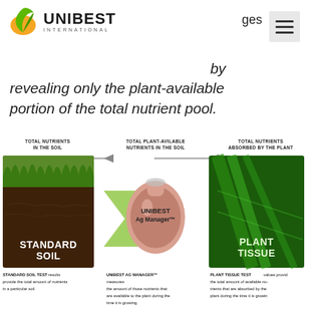[Figure (logo): Unibest International logo with green leaf icon]
ges
by revealing only the plant-available portion of the total nutrient pool.
[Figure (infographic): Three-step diagram showing: STANDARD SOIL (photo of soil with grass) → TOTAL NUTRIENTS IN THE SOIL → TOTAL PLANT-AVAILABLE NUTRIENTS IN THE SOIL → UNIBEST Ag Manager (flask image) → TOTAL NUTRIENTS ABSORBED BY THE PLANT → PLANT TISSUE (photo of green leaf). Captions: STANDARD SOIL TEST results provide the total amount of nutrients in a particular soil. UNIBEST AG MANAGER measures the amount of those nutrients that are available to the plant during the time it is growing. PLANT TISSUE TEST values provide the total amount of available nutrients that are absorbed by the plant during the time it is growing.]